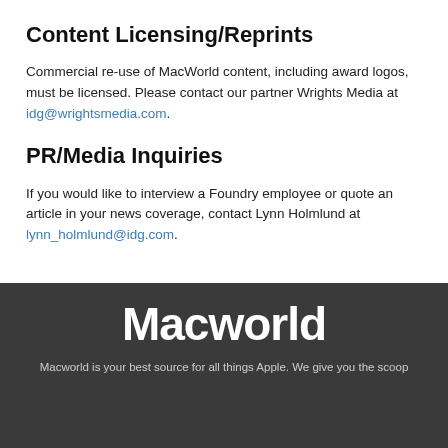Content Licensing/Reprints
Commercial re-use of MacWorld content, including award logos, must be licensed. Please contact our partner Wrights Media at idg@wrightsmedia.com.
PR/Media Inquiries
If you would like to interview a Foundry employee or quote an article in your news coverage, contact Lynn Holmlund at lynn_holmlund@idg.com.
Macworld
Macworld is your best source for all things Apple. We give you the scoop on all the products, the latest news, the product of the year...